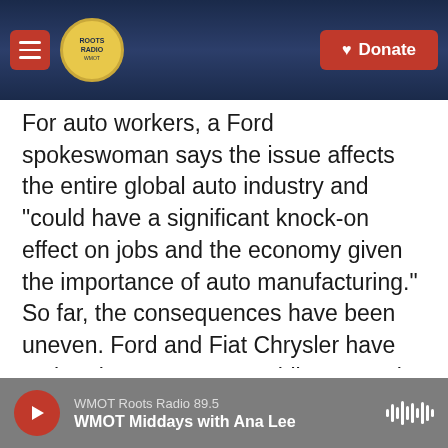WMOT Roots Radio — Donate button — navigation header
For auto workers, a Ford spokeswoman says the issue affects the entire global auto industry and "could have a significant knock-on effect on jobs and the economy given the importance of auto manufacturing." So far, the consequences have been uneven. Ford and Fiat Chrysler have entire plants on pause, while General Motors says its manufacturing operations have not been affected, and Toyota does not expect any impact to employment.
The United Auto Workers, which represents factory workers at Ford, GM and Fiat Chrysler, has not...
WMOT Roots Radio 89.5 — WMOT Middays with Ana Lee